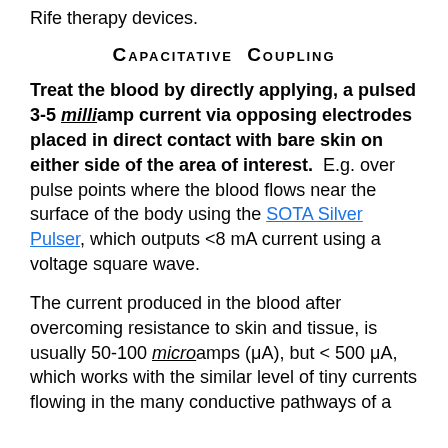Rife therapy devices.
Capacitative Coupling
Treat the blood by directly applying, a pulsed 3-5 milliamp current via opposing electrodes placed in direct contact with bare skin on either side of the area of interest. E.g. over pulse points where the blood flows near the surface of the body using the SOTA Silver Pulser, which outputs <8 mA current using a voltage square wave.
The current produced in the blood after overcoming resistance to skin and tissue, is usually 50-100 microamps (μA), but < 500 μA, which works with the similar level of tiny currents flowing in the many conductive pathways of a